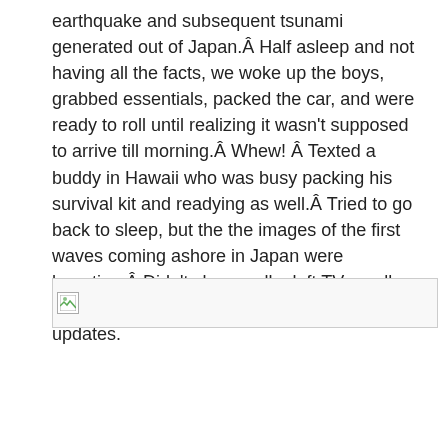earthquake and subsequent tsunami generated out of Japan.Â Half asleep and not having all the facts, we woke up the boys, grabbed essentials, packed the car, and were ready to roll until realizing it wasn’t supposed to arrive till morning.Â Whew! Â Texted a buddy in Hawaii who was busy packing his survival kit and readying as well.Â Tried to go back to sleep, but the the images of the first waves coming ashore in Japan were haunting.Â Didn’t sleep well....left TV on all night so I could half listen to any new updates.
[Figure (photo): Broken image placeholder icon]